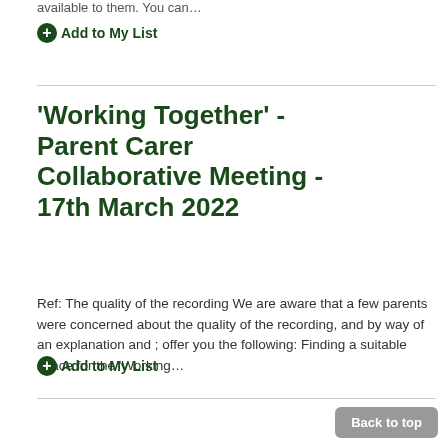available to them. You can…
+ Add to My List
'Working Together' - Parent Carer Collaborative Meeting - 17th March 2022
Ref: The quality of the recording We are aware that a few parents were concerned about the quality of the recording, and by way of an explanation and ; offer you the following: Finding a suitable space for the 'Working…
+ Add to My List
Back to top